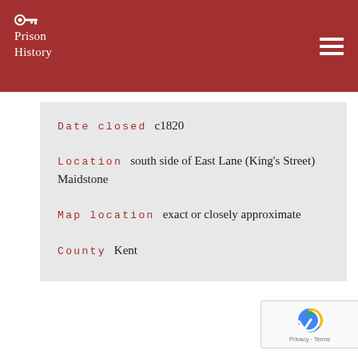Prison History
Date closed  c1820
Location  south side of East Lane (King's Street)   Maidstone
Map location  exact or closely approximate
County  Kent